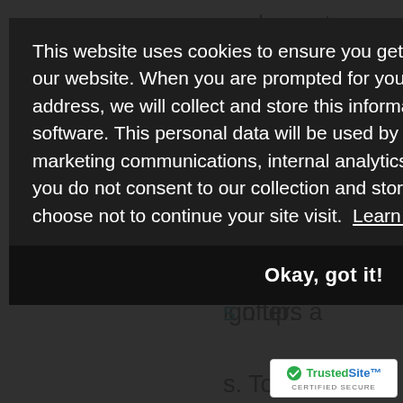ead over to
utton. It is
best part is
shopping
ign up.
s offers a
s. To receive
order
$25 within
This website uses cookies to ensure you get the best experience on our website. When you are prompted for your name and email address, we will collect and store this information via ConvertKit email software. This personal data will be used by She's In The Money for marketing communications, internal analytics, and selling products. If you do not consent to our collection and storage of data, you may choose not to continue your site visit. Learn More.
Okay, got it!
[Figure (logo): TrustedSite certified secure badge with green checkmark and blue text]